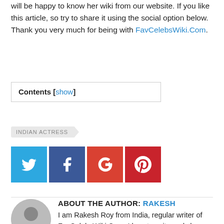will be happy to know her wiki from our website. If you like this article, so try to share it using the social option below. Thank you very much for being with FavCelebsWiki.Com.
Contents [show]
INDIAN ACTRESS
[Figure (other): Social media share buttons: Twitter (blue), Facebook (dark blue), Google+ (orange-red), Pinterest (red)]
ABOUT THE AUTHOR: RAKESH
I am Rakesh Roy from India, regular writer of FavCelebsWiki.Com. I love to write and share Indian Celebrities Wiki, Net Worth, Known and Unknown Facts!